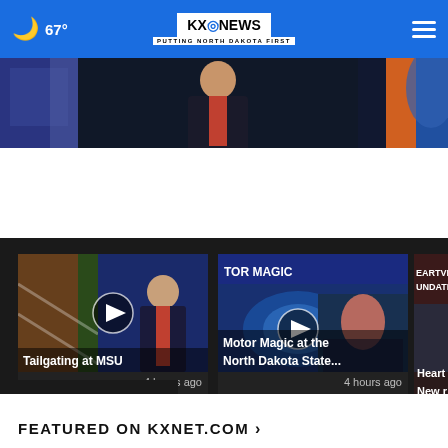67° KXO NEWS - PUTTING NORTH DAKOTA FIRST
[Figure (screenshot): Hero image strip showing news broadcast with anchor person in dark suit]
[Figure (screenshot): Video thumbnail: Tailgating at MSU, 4 hours ago]
[Figure (screenshot): Video thumbnail: Motor Magic at the North Dakota State..., 4 hours ago]
[Figure (screenshot): Partial video thumbnail: Heart... New r...]
More Videos ›
FEATURED ON KXNET.COM ›